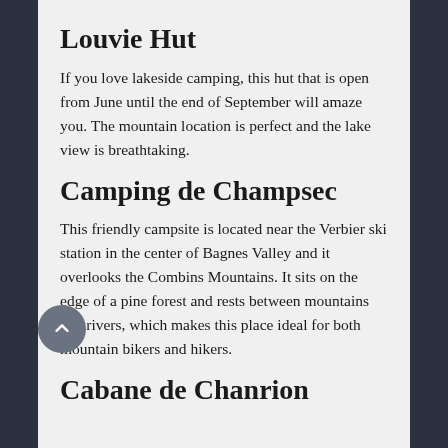Louvie Hut
If you love lakeside camping, this hut that is open from June until the end of September will amaze you. The mountain location is perfect and the lake view is breathtaking.
Camping de Champsec
This friendly campsite is located near the Verbier ski station in the center of Bagnes Valley and it overlooks the Combins Mountains. It sits on the edge of a pine forest and rests between mountains and rivers, which makes this place ideal for both mountain bikers and hikers.
Cabane de Chanrion